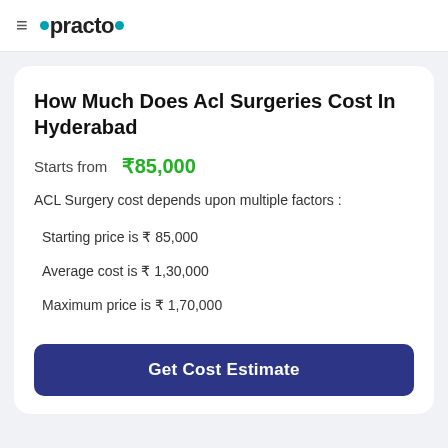≡ •practo•
How Much Does Acl Surgeries Cost In Hyderabad
Starts from ₹85,000
ACL Surgery cost depends upon multiple factors :
Starting price is ₹ 85,000
Average cost is ₹ 1,30,000
Maximum price is ₹ 1,70,000
Get Cost Estimate